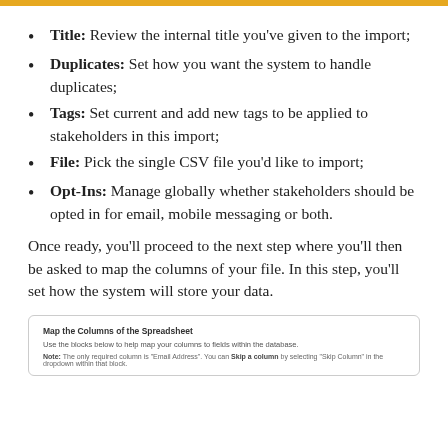Title: Review the internal title you've given to the import;
Duplicates: Set how you want the system to handle duplicates;
Tags: Set current and add new tags to be applied to stakeholders in this import;
File: Pick the single CSV file you'd like to import;
Opt-Ins: Manage globally whether stakeholders should be opted in for email, mobile messaging or both.
Once ready, you'll proceed to the next step where you'll then be asked to map the columns of your file. In this step, you'll set how the system will store your data.
[Figure (screenshot): Screenshot of 'Map the Columns of the Spreadsheet' interface showing use of blocks to map columns to fields within the database, with a note that the only required column is 'Email Address' and you can skip a column by selecting 'Skip Column' in the dropdown within that block.]